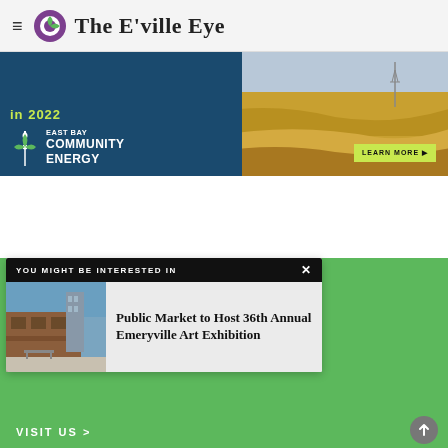The E'ville Eye
[Figure (illustration): East Bay Community Energy advertisement banner with 'in 2022' text in green, East Bay Community Energy logo in white on dark blue left panel, aerial photo of farmland on right, yellow 'LEARN MORE' button]
YOU MIGHT BE INTERESTED IN
[Figure (photo): Photo of Emeryville Public Market building exterior]
Public Market to Host 36th Annual Emeryville Art Exhibition
VISIT US >